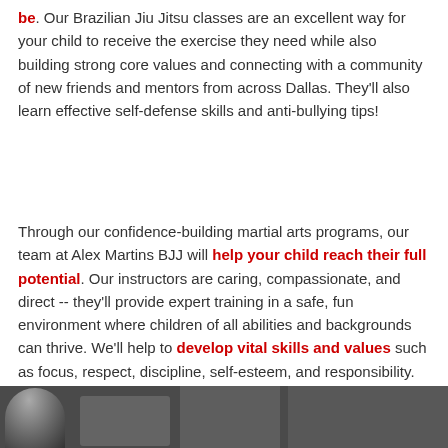be. Our Brazilian Jiu Jitsu classes are an excellent way for your child to receive the exercise they need while also building strong core values and connecting with a community of new friends and mentors from across Dallas. They'll also learn effective self-defense skills and anti-bullying tips!
Through our confidence-building martial arts programs, our team at Alex Martins BJJ will help your child reach their full potential. Our instructors are caring, compassionate, and direct -- they'll provide expert training in a safe, fun environment where children of all abilities and backgrounds can thrive. We'll help to develop vital skills and values such as focus, respect, discipline, self-esteem, and responsibility.
[Figure (photo): A partial photo strip at the bottom showing people, likely in a Brazilian Jiu Jitsu class setting, with dark tones.]